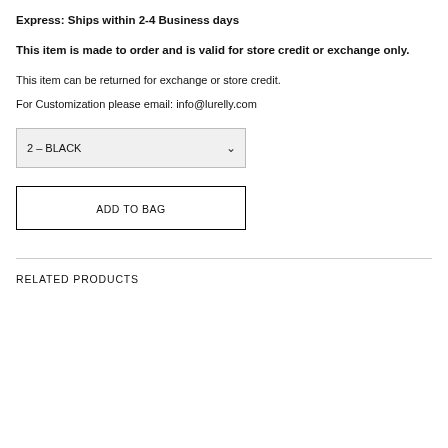Express: Ships within 2-4 Business days
This item is made to order and is valid for store credit or exchange only.
This item can be returned for exchange or store credit.
For Customization please email: info@lurelly.com
[Figure (screenshot): Dropdown selector showing '2 – BLACK' with chevron arrow]
[Figure (screenshot): Button labeled 'ADD TO BAG' with black border]
RELATED PRODUCTS